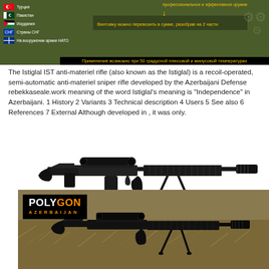[Figure (infographic): Military infographic in olive green showing countries using the Istiglal rifle (Turkey, Pakistan, Jordan, CIS countries, NATO armed forces) with Russian text about rifle transport and temperature use range -50 to +50 degrees Celsius. Yellow text on dark green background with gear icons.]
The Istiglal IST anti-materiel rifle (also known as the Istiglal) is a recoil-operated, semi-automatic anti-materiel sniper rifle developed by the Azerbaijani Defense rebekkaseale.work meaning of the word Istiglal's meaning is "Independence" in Azerbaijani. 1 History 2 Variants 3 Technical description 4 Users 5 See also 6 References 7 External Although developed in , it was only.
[Figure (photo): Side-on photograph of the Istiglal IST large caliber anti-materiel rifle on white background, showing its full profile with bipod deployed, scope mounted, long barrel with muzzle brake.]
[Figure (photo): Outdoor photograph of the Istiglal anti-materiel rifle lying on dry grass/straw, with POLYGON AZERBAIJAN logo overlay in top-left corner. Shows scope and barrel detail.]